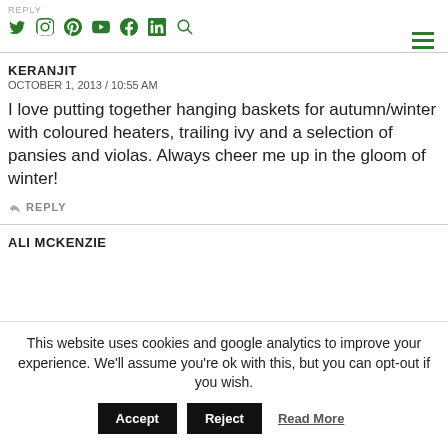REPLY | social icons: Twitter, Instagram, Pinterest, YouTube, Facebook, LinkedIn, Search | hamburger menu
KERANJIT
OCTOBER 1, 2013 / 10:55 AM
I love putting together hanging baskets for autumn/winter with coloured heaters, trailing ivy and a selection of pansies and violas. Always cheer me up in the gloom of winter!
REPLY
ALI MCKENZIE
This website uses cookies and google analytics to improve your experience. We'll assume you're ok with this, but you can opt-out if you wish.
Accept | Reject | Read More